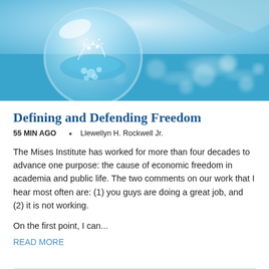[Figure (photo): A glass globe or crystal ball with water splashing inside, set against a blurred blue ocean and sky background.]
Defining and Defending Freedom
55 MIN AGO  •  Llewellyn H. Rockwell Jr.
The Mises Institute has worked for more than four decades to advance one purpose: the cause of economic freedom in academia and public life. The two comments on our work that I hear most often are: (1) you guys are doing a great job, and (2) it is not working.
On the first point, I can...
READ MORE